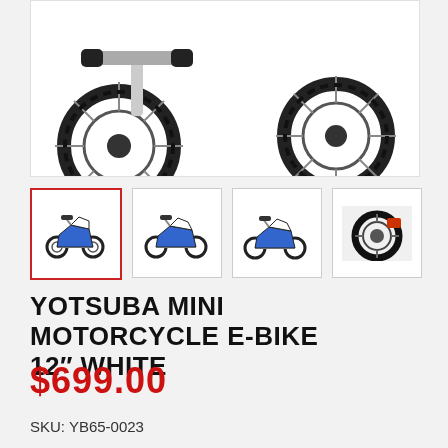[Figure (photo): Main product photo of Yotsuba Mini Motorcycle E-Bike white, showing front wheel and handlebars area on white background]
[Figure (photo): Thumbnail 1 (active/selected): small image of full Yotsuba mini motorcycle e-bike, side view, white background]
[Figure (photo): Thumbnail 2: small image of Yotsuba mini motorcycle e-bike front/side view, white background]
[Figure (photo): Thumbnail 3: small image of Yotsuba mini motorcycle e-bike side view, white background]
[Figure (photo): Thumbnail 4: close-up of rear wheel with motor, dark background]
YOTSUBA MINI MOTORCYCLE E-BIKE 12" WHITE
$699.00
SKU: YB65-0023